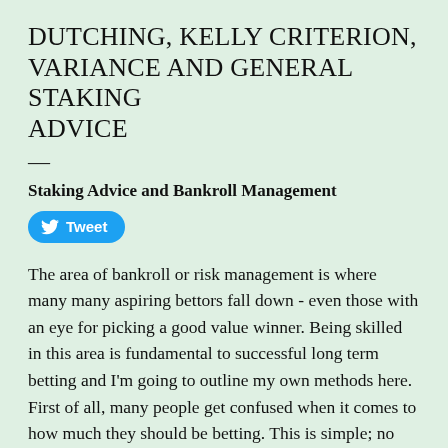DUTCHING, KELLY CRITERION, VARIANCE AND GENERAL STAKING ADVICE
Staking Advice and Bankroll Management
[Figure (other): Twitter Tweet button]
The area of bankroll or risk management is where many many aspiring bettors fall down - even those with an eye for picking a good value winner. Being skilled in this area is fundamental to successful long term betting and I'm going to outline my own methods here. First of all, many people get confused when it comes to how much they should be betting. This is simple; no more than 5% of your bankroll on any one bet and in my